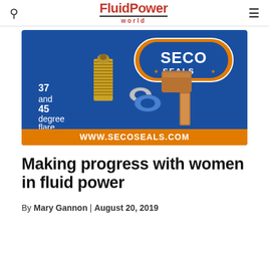FluidPower world
[Figure (illustration): SECO Seals advertisement showing brass flare tube fittings and gaskets on blue background. Text reads: '37 and 45 degree flare tube gaskets' and 'WWW.SECOSEALS.COM']
Making progress with women in fluid power
By Mary Gannon | August 20, 2019